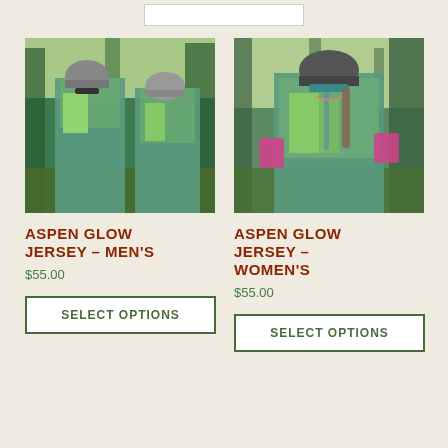[Figure (photo): Men's cycling jersey product photo showing two cyclists wearing teal/green Aspen Glow jerseys outdoors in a forest setting with helmets and gloves]
[Figure (photo): Women's cycling jersey product photo showing a woman smiling wearing a teal/green Aspen Glow jersey outdoors in a forest setting with helmet and pink gloves]
ASPEN GLOW JERSEY – MEN'S
ASPEN GLOW JERSEY – WOMEN'S
$55.00
$55.00
SELECT OPTIONS
SELECT OPTIONS